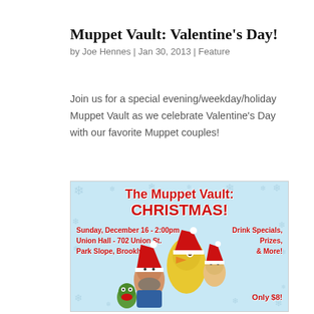Muppet Vault: Valentine's Day!
by Joe Hennes | Jan 30, 2013 | Feature
Join us for a special evening/weekday/holiday Muppet Vault as we celebrate Valentine's Day with our favorite Muppet couples!
[Figure (photo): Event promotional poster for The Muppet Vault: Christmas! featuring Muppet characters and a man wearing Santa hats on a blue snowflake background. Text reads: Sunday, December 16 - 2:00pm, Union Hall - 702 Union St., Park Slope, Brooklyn, Drink Specials, Prizes, & More!, Only $8!]